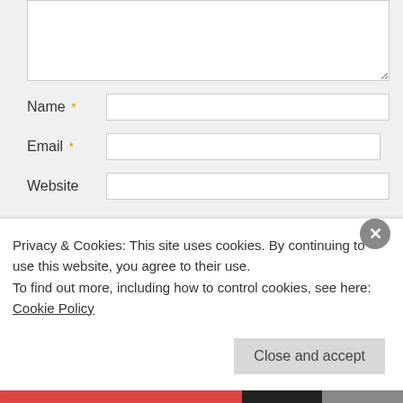[Figure (screenshot): Web comment form showing text area, Name field with required asterisk, Email field with required asterisk, Website field, Post Comment button, and two notification checkboxes]
Name *
Email *
Website
Post Comment
Notify me of new comments via email.
Notify me of new posts via email.
Privacy & Cookies: This site uses cookies. By continuing to use this website, you agree to their use.
To find out more, including how to control cookies, see here: Cookie Policy
Close and accept